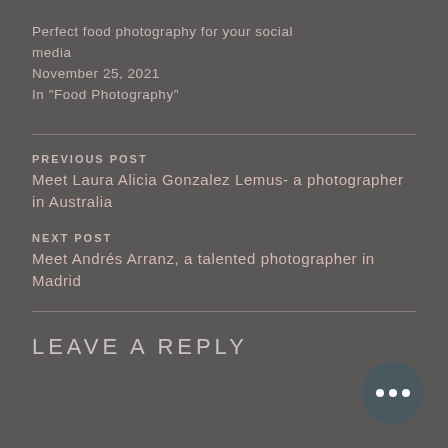Perfect food photography for your social media
November 25, 2021
In “Food Photography”
PREVIOUS POST
Meet Laura Alicia Gonzalez Lemus- a photographer in Australia
NEXT POST
Meet Andrés Arranz, a talented photographer in Madrid
LEAVE A REPLY